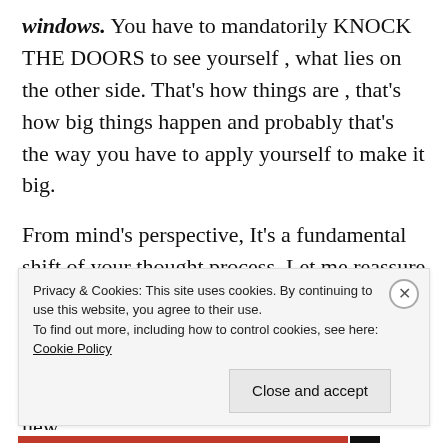windows. You have to mandatorily KNOCK THE DOORS to see yourself , what lies on the other side. That's how things are , that's how big things happen and probably that's the way you have to apply yourself to make it big.
From mind's perspective, It's a fundamental shift of your thought process. Let me reassure you that , it will not hamper your core profession ( whether you are a Doctor 🧑‍⚕️ or an Engineer 🧑‍💻, or doing a white collar job  or into your own work etc  etc). Adopting this new
Privacy & Cookies: This site uses cookies. By continuing to use this website, you agree to their use.
To find out more, including how to control cookies, see here: Cookie Policy